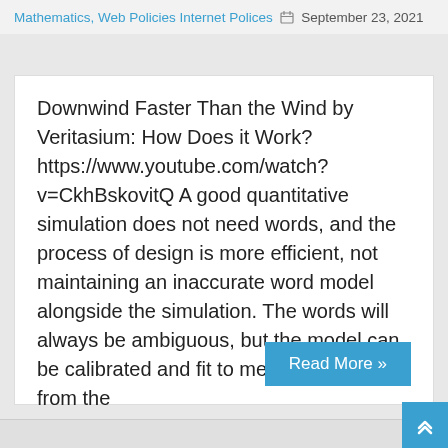Mathematics, Web Policies Internet Polices 📅 September 23, 2021
Downwind Faster Than the Wind by Veritasium: How Does it Work? https://www.youtube.com/watch?v=CkhBskovitQ A good quantitative simulation does not need words, and the process of design is more efficient, not maintaining an inaccurate word model alongside the simulation. The words will always be ambiguous, but the model can be calibrated and fit to measurements from the
Read More »